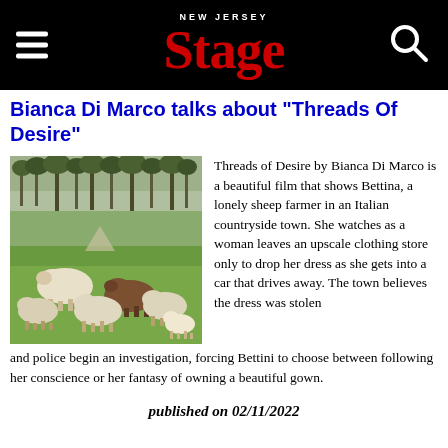NEW JERSEY Stage
Bianca Di Marco talks about "Threads Of Desire"
[Figure (photo): A flock of sheep, mostly white with some brown, grazing on green grass in an Italian countryside setting with trees in the background.]
Threads of Desire by Bianca Di Marco is a beautiful film that shows Bettina, a lonely sheep farmer in an Italian countryside town. She watches as a woman leaves an upscale clothing store only to drop her dress as she gets into a car that drives away. The town believes the dress was stolen and police begin an investigation, forcing Bettini to choose between following her conscience or her fantasy of owning a beautiful gown.
published on 02/11/2022